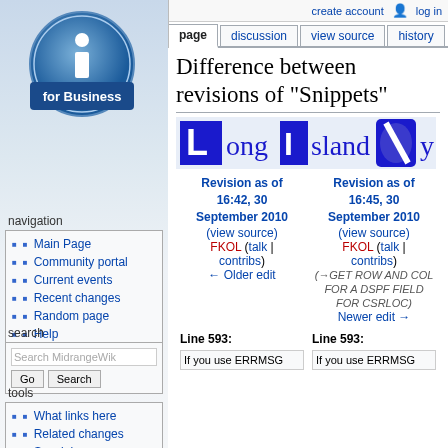create account  log in
page | discussion | view source | history
[Figure (logo): i for Business circular logo - blue circle with white 'i' and text 'for Business' on blue banner]
Difference between revisions of "Snippets"
[Figure (logo): Long Island Systems logo - blue blocks spelling out LIS with stylized letters]
Revision as of 16:42, 30 September 2010 (view source) FKOL (talk | contribs) ← Older edit
Revision as of 16:45, 30 September 2010 (view source) FKOL (talk | contribs) (→GET ROW AND COL FOR A DSPF FIELD FOR CSRLOC) Newer edit →
Line 593: Line 593:
If you use ERRMSG    If you use ERRMSG
navigation
Main Page
Community portal
Current events
Recent changes
Random page
Help
search
tools
What links here
Related changes
Special pages